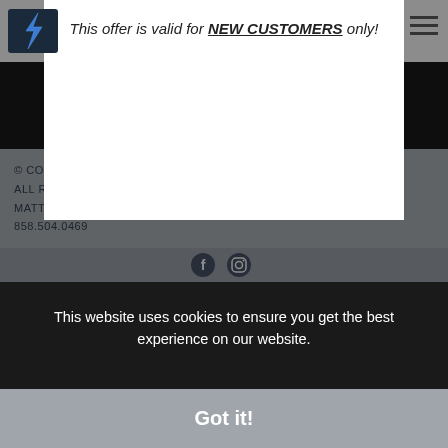[Figure (logo): Matthew Meier Photography logo with lightning bolt icon, top left]
This offer is valid for NEW CUSTOMERS only!
[Figure (illustration): Fine Art badge/seal in center of dark background image area]
© COPYRIGHT MATTHEW MEIER PHOTOGRAPHY, ALL RIGHTS RESERVED.
MATT@MATTHEWMEIERPHOTO.COM
858.504.0469
[Figure (other): Social media icons (Facebook, Instagram)]
This website uses cookies to ensure you get the best experience on our website.
Got it!